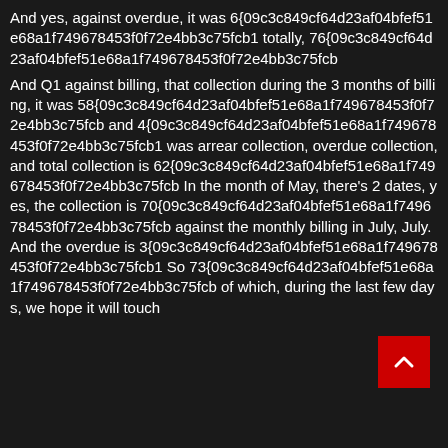And yes, against overdue, it was 6{09c3c849cf64d23af04bfef51e68a1f749678453f0f72e4bb3c75fcb1 totally, 76{09c3c849cf64d23af04bfef51e68a1f749678453f0f72e4bb3c75fcb
And Q1 against billing, that collection during the 3 months of billing, it was 58{09c3c849cf64d23af04bfef51e68a1f749678453f0f72e4bb3c75fcb and 4{09c3c849cf64d23af04bfef51e68a1f749678453f0f72e4bb3c75fcb1 was arrear collection, overdue collection, and total collection is 62{09c3c849cf64d23af04bfef51e68a1f749678453f0f72e4bb3c75fcb In the month of May, there's 2 dates, yes, the collection is 70{09c3c849cf64d23af04bfef51e68a1f749678453f0f72e4bb3c75fcb against the monthly billing in July, July. And the overdue is 3{09c3c849cf64d23af04bfef51e68a1f749678453f0f72e4bb3c75fcb1 So 73{09c3c849cf64d23af04bfef51e68a1f749678453f0f72e4bb3c75fcb of which, during the last few days, we hope it will touch